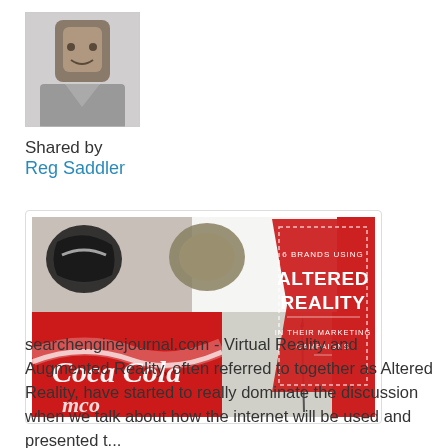[Figure (photo): Profile photo of a person (Reg Saddler), small square thumbnail with a light border]
Shared by
Reg Saddler
[Figure (infographic): Infographic image showing crushed Coca-Cola cans arranged artistically with red banner overlay reading '6 BRANDS USING ALTERED REALITY IN THEIR MARKETING CAMPAIGNS']
searchenginejournal.com - Virtual Reality and Augmented Reality, often referred to together as Altered Reality, have started to really dominate the discussion when we talk about how the internet will be used and presented t...